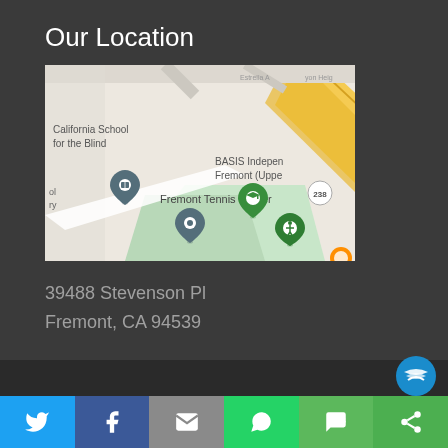Our Location
[Figure (map): Google Maps screenshot showing Fremont, CA area with California School for the Blind, BASIS Independent Fremont, Fremont Tennis Center, and highway 238 visible.]
39488 Stevenson Pl
Fremont, CA 94539
[Figure (infographic): Social sharing bar with Twitter, Facebook, Email, WhatsApp, SMS, and share icons on colored backgrounds.]